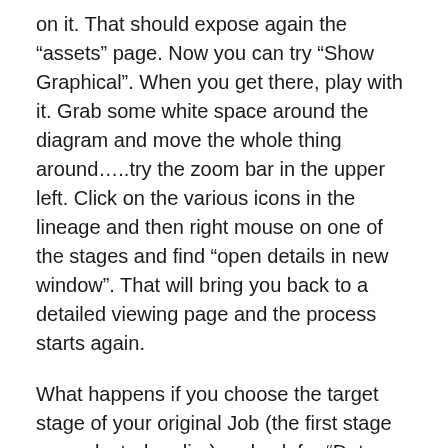on it. That should expose again the “assets” page. Now you can try “Show Graphical”. When you get there, play with it. Grab some white space around the diagram and move the whole thing around…..try the zoom bar in the upper left. Click on the various icons in the lineage and then right mouse on one of the stages and find “open details in new window”. That will bring you back to a detailed viewing page and the process starts again.
What happens if you choose the target stage of your original Job (the first stage you selected earlier) and ask for “Data Lineage” and select “Where does this go to”? If you haven’t done Automated Services as I’ve noted above, you should likely receive “No assets found” or “No data for the report”. This is because it’s the “final” target — there isn’t anything else. “Where did this come from” will